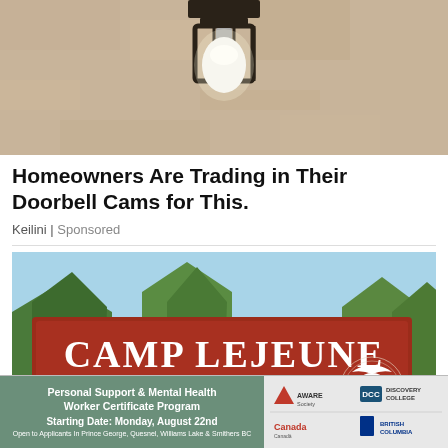[Figure (photo): Close-up photo of a light bulb in a dark metal cage/bracket fixture mounted on a textured stone or stucco wall]
Homeowners Are Trading in Their Doorbell Cams for This.
Keilini | Sponsored
[Figure (photo): Camp Lejeune sign — a large red/brown rectangular sign with white text reading 'CAMP LEJEUNE HOME OF EXPEDITIONARY FORCES IN READINESS' with the USMC Eagle Globe and Anchor emblem, set against a background of green pine trees and blue sky]
[Figure (infographic): Advertisement banner for Personal Support & Mental Health Worker Certificate Program. Starting Date: Monday, August 22nd. Open to Applicants In Prince George, Quesnel, Williams Lake & Smithers BC. Logos for AWARE Society, DCC Discovery College, Canada, and British Columbia.]